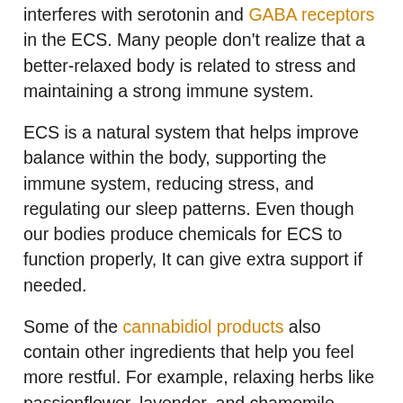interferes with serotonin and GABA receptors in the ECS. Many people don't realize that a better-relaxed body is related to stress and maintaining a strong immune system.
ECS is a natural system that helps improve balance within the body, supporting the immune system, reducing stress, and regulating our sleep patterns. Even though our bodies produce chemicals for ECS to function properly, It can give extra support if needed.
Some of the cannabidiol products also contain other ingredients that help you feel more restful. For example, relaxing herbs like passionflower, lavender, and chamomile when mixed with cannabidiol have shown great results in providing a full night's rest to your body.
Will CBD for sleep cause